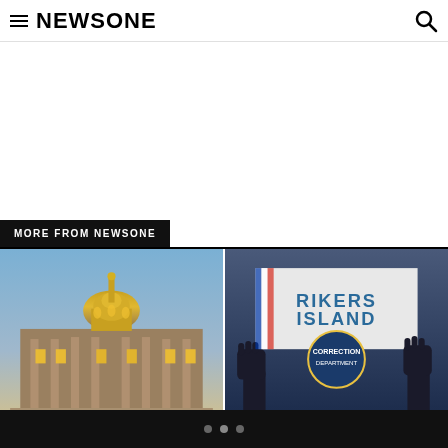NEWSONE
MORE FROM NEWSONE
[Figure (photo): Capitol building with golden dome lit up at dusk, blue sky background]
[Figure (photo): Rikers Island sign with NYC Department of Correction logo, people with raised fists in foreground]